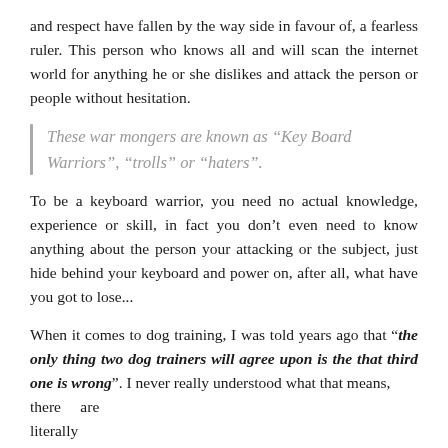and respect have fallen by the way side in favour of, a fearless ruler. This person who knows all and will scan the internet world for anything he or she dislikes and attack the person or people without hesitation.
These war mongers are known as “Key Board Warriors”, “trolls” or “haters”.
To be a keyboard warrior, you need no actual knowledge, experience or skill, in fact you don’t even need to know anything about the person your attacking or the subject, just hide behind your keyboard and power on, after all, what have you got to lose...
When it comes to dog training, I was told years ago that “the only thing two dog trainers will agree upon is the that third one is wrong”. I never really understood what that means, there    are literally